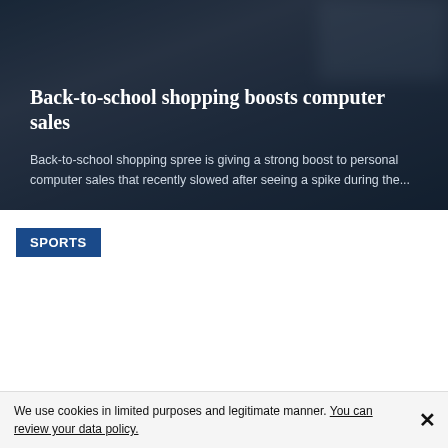[Figure (photo): Dark background image of a computer/laptop scene with a semi-transparent overlay, serving as hero image for the article]
Back-to-school shopping boosts computer sales
Back-to-school shopping spree is giving a strong boost to personal computer sales that recently slowed after seeing a spike during the...
SPORTS
We use cookies in limited purposes and legitimate manner. You can review your data policy.